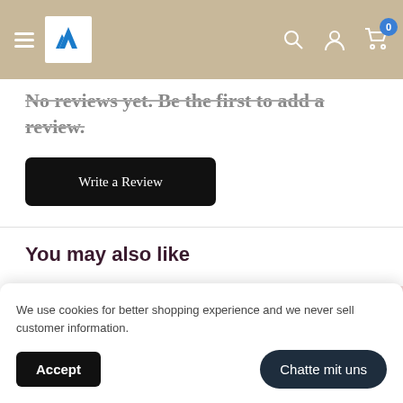Navigation header with logo and icons
No reviews yet. Be the first to add a review.
Write a Review
You may also like
We use cookies for better shopping experience and we never sell customer information.
Accept
Chatte mit uns